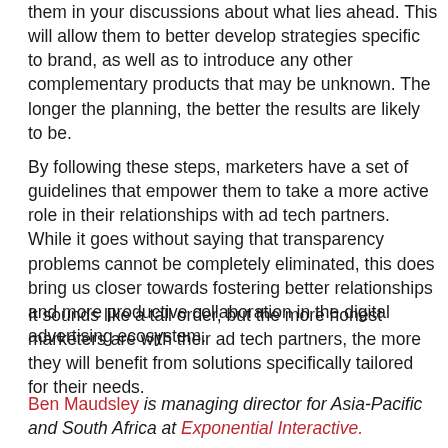them in your discussions about what lies ahead. This will allow them to better develop strategies specific to brand, as well as to introduce any other complementary products that may be unknown. The longer the planning, the better the results are likely to be.
By following these steps, marketers have a set of guidelines that empower them to take a more active role in their relationships with ad tech partners. While it goes without saying that transparency problems cannot be completely eliminated, this does bring us closer towards fostering better relationships and more productive collaboration in the digital advertising ecosystem.
It sounds like a tall order, but the more honest marketers are with their ad tech partners, the more they will benefit from solutions specifically tailored for their needs.
Ben Maudsley is managing director for Asia-Pacific and South Africa at Exponential Interactive.